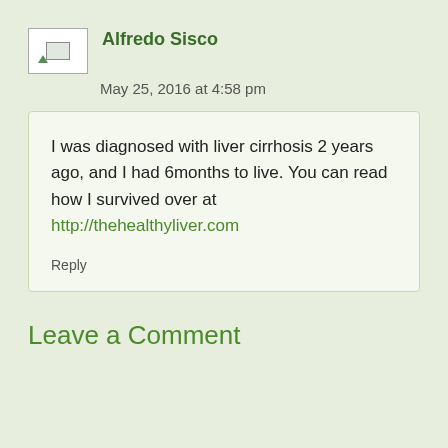[Figure (photo): Avatar placeholder image thumbnail with broken image icon]
Alfredo Sisco
May 25, 2016 at 4:58 pm
I was diagnosed with liver cirrhosis 2 years ago, and I had 6months to live. You can read how I survived over at http://thehealthyliver.com
Reply
Leave a Comment